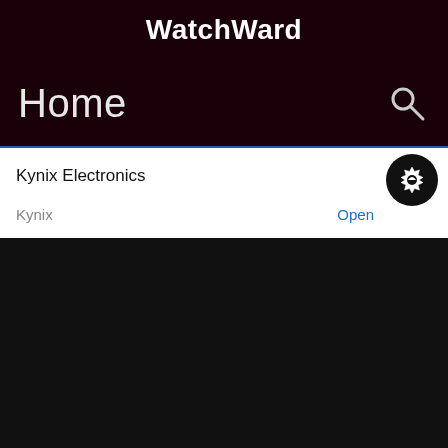WatchWard
Home
Kynix Electronics
Kynix
Open